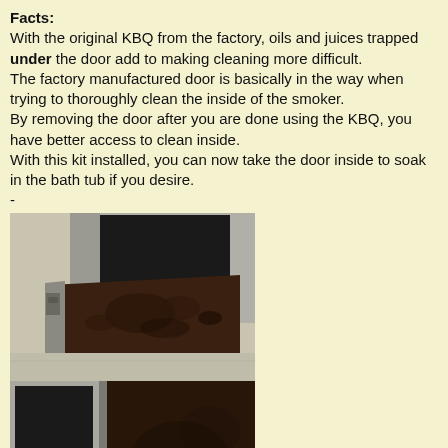Facts:
With the original KBQ from the factory, oils and juices trapped under the door add to making cleaning more difficult.
The factory manufactured door is basically in the way when trying to thoroughly clean the inside of the smoker.
By removing the door after you are done using the KBQ, you have better access to clean inside.
With this kit installed, you can now take the door inside to soak in the bath tub if you desire.
-
[Figure (photo): Photo of a KBQ smoker door removed and laid flat on a surface, showing the underside which is dark and greasy with oil/juice residue. The smoker body is visible in the background.]
[Figure (photo): Photo of a hand holding metal rods (pins/hinge hardware) next to the KBQ smoker door opening, demonstrating the removal mechanism.]